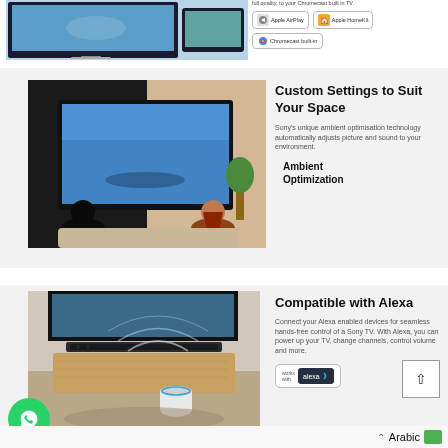[Figure (photo): TV and tablet showing AirPlay content mirroring]
full quality, to your Chromecast built in TV.
[Figure (logo): Works with Apple AirPlay badge]
[Figure (logo): Works with Apple HomeKit badge]
[Figure (logo): Chromecast built-in badge]
[Figure (photo): Person watching TV showing ambient optimization with split dark/bright room]
Custom Settings to Suit Your Space
Sony's unique ambient optimisation technology automatically adjusts picture and sound to your environment.
Ambient Optimization
[Figure (photo): Living room with Sony TV and Amazon Echo device, showing Alexa compatibility]
Compatible with Alexa
Connect your Alexa enabled devices for seamless hands-free control of a Sony TV. With Alexa, you can power up your TV, change channels, control volume and more.
[Figure (logo): Works with Alexa badge]
Arabic